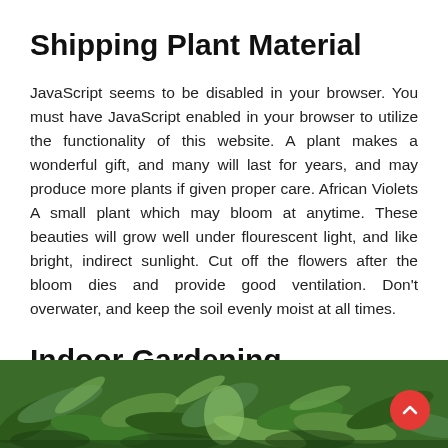Shipping Plant Material
JavaScript seems to be disabled in your browser. You must have JavaScript enabled in your browser to utilize the functionality of this website. A plant makes a wonderful gift, and many will last for years, and may produce more plants if given proper care. African Violets A small plant which may bloom at anytime. These beauties will grow well under flourescent light, and like bright, indirect sunlight. Cut off the flowers after the bloom dies and provide good ventilation. Don't overwater, and keep the soil evenly moist at all times.
Indoor Gardening
[Figure (photo): A lush indoor garden scene with green tropical plants and leaves, partially visible at the bottom of the page. A red circular scroll-to-top button is overlaid in the bottom right corner.]